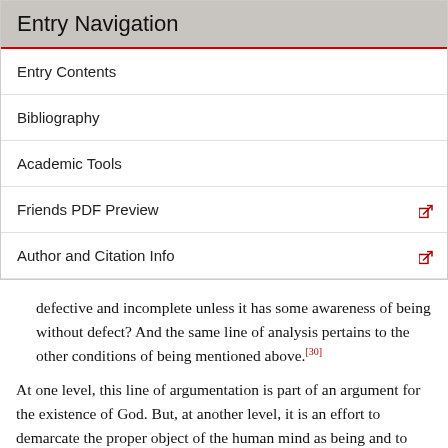Entry Navigation
Entry Contents
Bibliography
Academic Tools
Friends PDF Preview
Author and Citation Info
defective and incomplete unless it has some awareness of being without defect? And the same line of analysis pertains to the other conditions of being mentioned above.[30]
At one level, this line of argumentation is part of an argument for the existence of God. But, at another level, it is an effort to demarcate the proper object of the human mind as being and to point out that, if we reflect upon the notion of being (ens) in terms of its actuality (esse) we are inexorably led to the conclusion that there is a Perfect